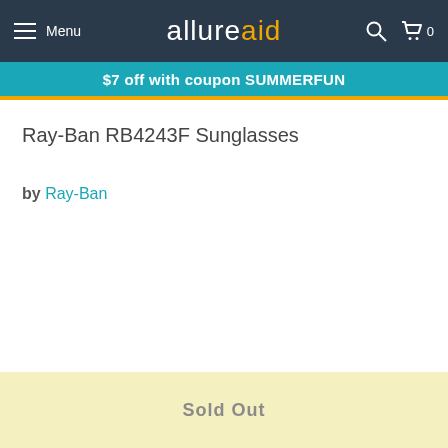Menu  allureaid  0
$7 off with coupon SUMMERFUN
Ray-Ban RB4243F Sunglasses
by Ray-Ban
Sold Out